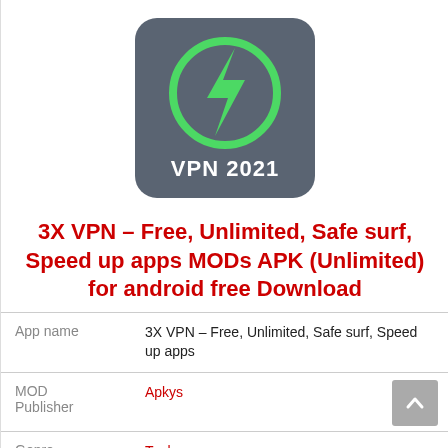[Figure (logo): VPN 2021 app icon: dark grey/slate background with a green circle outline and green lightning bolt, white text 'VPN 2021' below the bolt]
3X VPN – Free, Unlimited, Safe surf, Speed up apps MODs APK (Unlimited) for android free Download
| Field | Value |
| --- | --- |
| App name | 3X VPN – Free, Unlimited, Safe surf, Speed up apps |
| MOD Publisher | Apkys |
| Genre | Tools |